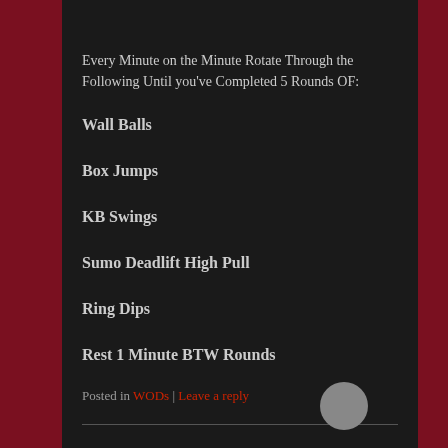Every Minute on the Minute Rotate Through the Following Until you've Completed 5 Rounds OF:
Wall Balls
Box Jumps
KB Swings
Sumo Deadlift High Pull
Ring Dips
Rest 1 Minute BTW Rounds
Posted in WODs | Leave a reply
Tuesday 2/24/15